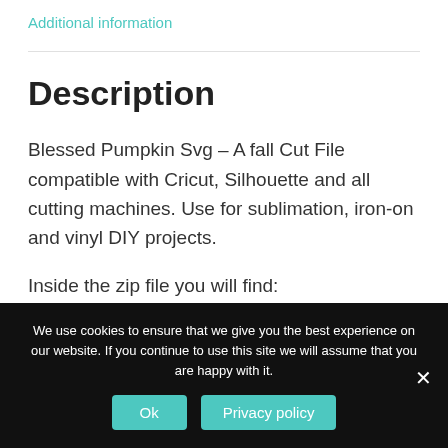Additional information
Description
Blessed Pumpkin Svg – A fall Cut File compatible with Cricut, Silhouette and all cutting machines. Use for sublimation, iron-on and vinyl DIY projects.
Inside the zip file you will find:
We use cookies to ensure that we give you the best experience on our website. If you continue to use this site we will assume that you are happy with it.